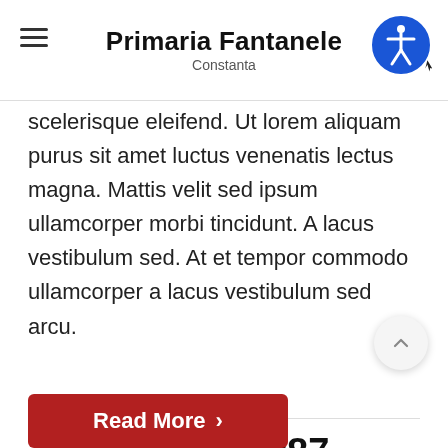Primaria Fantanele
Constanta
scelerisque eleifend. Ut lorem aliquam purus sit amet luctus venenatis lectus magna. Mattis velit sed ipsum ullamcorper morbi tincidunt. A lacus vestibulum sed. At et tempor commodo ullamcorper a lacus vestibulum sed arcu.
5478521987
Ask any question